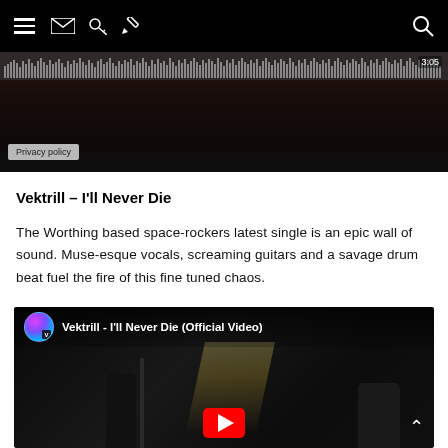Navigation bar with hamburger menu, mail, key, pencil icons and search icon
[Figure (screenshot): Video player thumbnail showing band silhouettes with audio waveform bar and timestamp 3:05, Privacy policy badge visible]
Vektrill – I'll Never Die
The Worthing based space-rockers latest single is an epic wall of sound. Muse-esque vocals, screaming guitars and a savage drum beat fuel the fire of this fine tuned chaos.
[Figure (screenshot): YouTube embedded video player showing Vektrill - I'll Never Die (Official Video) with channel avatar, video title, dark scene with light beam and musician silhouettes, red YouTube play button visible]